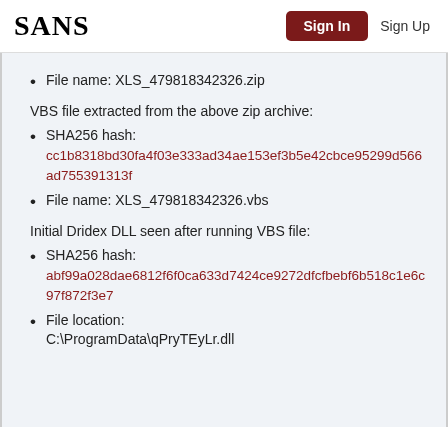SANS | Sign In | Sign Up
File name: XLS_479818342326.zip
VBS file extracted from the above zip archive:
SHA256 hash: cc1b8318bd30fa4f03e333ad34ae153ef3b5e42cbce95299d566ad755391313f
File name: XLS_479818342326.vbs
Initial Dridex DLL seen after running VBS file:
SHA256 hash: abf99a028dae6812f6f0ca633d7424ce9272dfcfbebf6b518c1e6c97f872f3e7
File location: C:\ProgramData\qPryTEyLr.dll